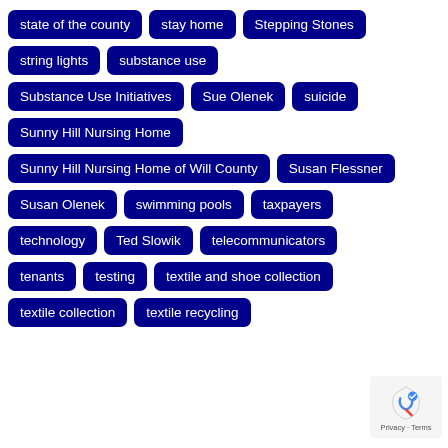state of the county
stay home
Stepping Stones
string lights
substance use
Substance Use Initiatives
Sue Olenek
suicide
Sunny Hill Nursing Home
Sunny Hill Nursing Home of Will County
Susan Flessner
Susan Olenek
swimming pools
taxpayers
technology
Ted Slowik
telecommunicators
tenants
testing
textile and shoe collection
textile collection
textile recycling